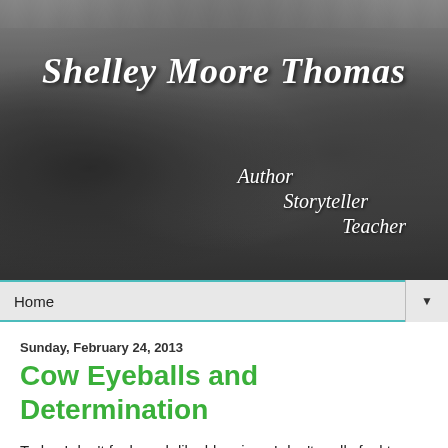[Figure (photo): Black and white photo of a woman (Shelley Moore Thomas) in costume performing/storytelling for a large group of children sitting on the floor in a classroom or library setting. Text overlay reads 'Shelley Moore Thomas' and below 'Author', 'Storyteller', 'Teacher' in cursive/italic white font.]
Home
Sunday, February 24, 2013
Cow Eyeballs and Determination
Today I don't feel much like blogging.  I don't really feel too much like writing at all, as a matter of fact.  And this is really bumming me out because it is Sunday, a day when I usually